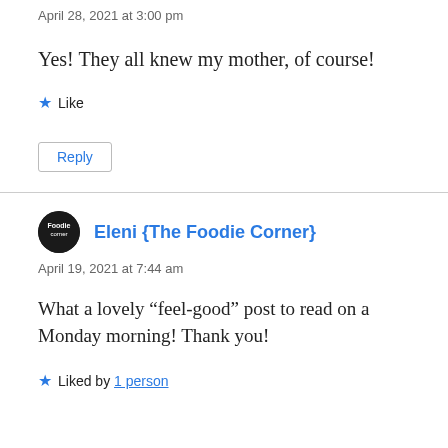April 28, 2021 at 3:00 pm
Yes! They all knew my mother, of course!
★ Like
Reply
Eleni {The Foodie Corner}
April 19, 2021 at 7:44 am
What a lovely “feel-good” post to read on a Monday morning! Thank you!
★ Liked by 1 person